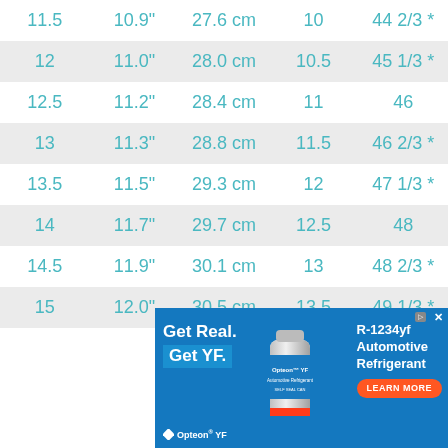| 11.5 | 10.9" | 27.6 cm | 10 | 44 2/3 * |
| 12 | 11.0" | 28.0 cm | 10.5 | 45 1/3 * |
| 12.5 | 11.2" | 28.4 cm | 11 | 46 |
| 13 | 11.3" | 28.8 cm | 11.5 | 46 2/3 * |
| 13.5 | 11.5" | 29.3 cm | 12 | 47 1/3 * |
| 14 | 11.7" | 29.7 cm | 12.5 | 48 |
| 14.5 | 11.9" | 30.1 cm | 13 | 48 2/3 * |
| 15 | 12.0" | 30.5 cm | 13.5 | 49 1/3 * |
[Figure (photo): Advertisement banner for Opteon YF automotive refrigerant. Blue background with text 'Get Real. Get YF.' on left, a can of Opteon YF Automotive Refrigerant in center, and 'R-1234yf Automotive Refrigerant' with 'LEARN MORE' button on right.]